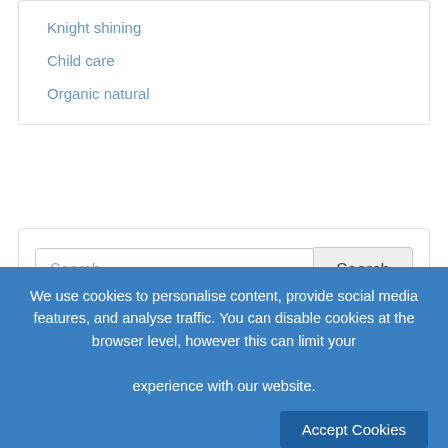Knight shining
Child care
Organic natural
Search ...
Essay Samples
Zongshen group dissertation
Just how employable individuals turn their very
We use cookies to personalise content, provide social media features, and analyse traffic. You can disable cookies at the browser level, however this can limit your experience with our website.
Accept Cookies